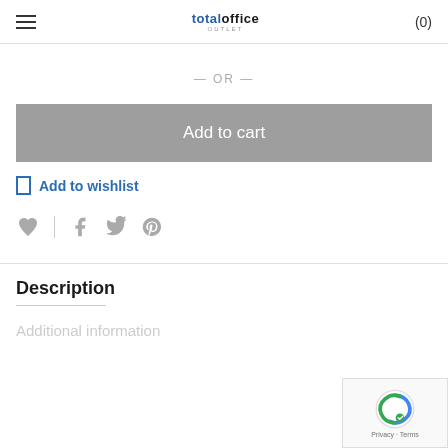Total Office Outlet — (0)
— OR —
Add to cart
Add to wishlist
[Figure (other): Social share icons: heart, facebook, twitter, pinterest]
Description
Additional information